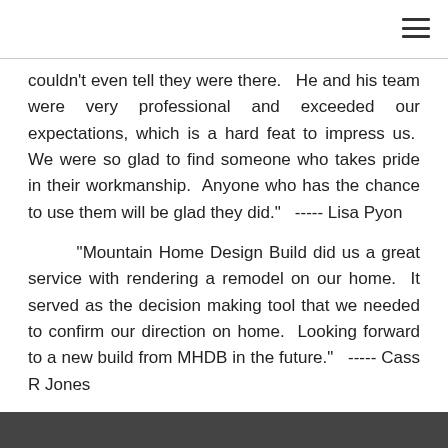couldn't even tell they were there.   He and his team were very professional and exceeded our expectations, which is a hard feat to impress us.  We were so glad to find someone who takes pride in their workmanship.  Anyone who has the chance to use them will be glad they did."   ----- Lisa Pyon
"Mountain Home Design Build did us a great service with rendering a remodel on our home.  It served as the decision making tool that we needed to confirm our direction on home.  Looking forward to a new build from MHDB in the future."   ----- Cass R Jones